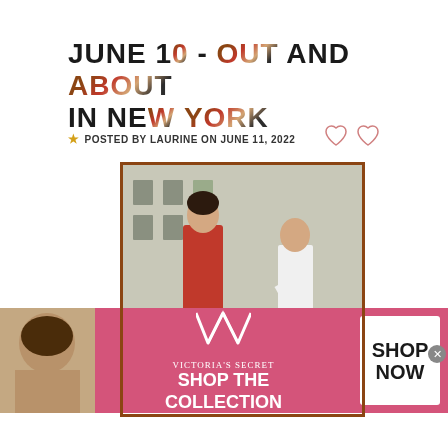JUNE 10 - OUT AND ABOUT IN NEW YORK
★ POSTED BY LAURINE ON JUNE 11, 2022
[Figure (photo): Photo of a woman in a red mini dress and black boots walking on a New York City street, with another person pushing a stroller in the background. Photo has a dark brown border.]
[Figure (infographic): Victoria's Secret advertisement banner: model photo on left, VS logo and 'SHOP THE COLLECTION' text in center on pink background, 'SHOP NOW' button on right]